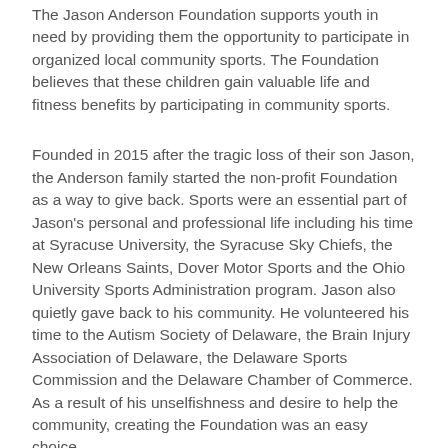The Jason Anderson Foundation supports youth in need by providing them the opportunity to participate in organized local community sports. The Foundation believes that these children gain valuable life and fitness benefits by participating in community sports.
Founded in 2015 after the tragic loss of their son Jason, the Anderson family started the non-profit Foundation as a way to give back. Sports were an essential part of Jason's personal and professional life including his time at Syracuse University, the Syracuse Sky Chiefs, the New Orleans Saints, Dover Motor Sports and the Ohio University Sports Administration program. Jason also quietly gave back to his community. He volunteered his time to the Autism Society of Delaware, the Brain Injury Association of Delaware, the Delaware Sports Commission and the Delaware Chamber of Commerce. As a result of his unselfishness and desire to help the community, creating the Foundation was an easy choice.
Factory Sports aims provide the highest quality of coaching for athletes of all ages and abilities that they might compete with enthusiasm, character, and expertise in a safe environment.